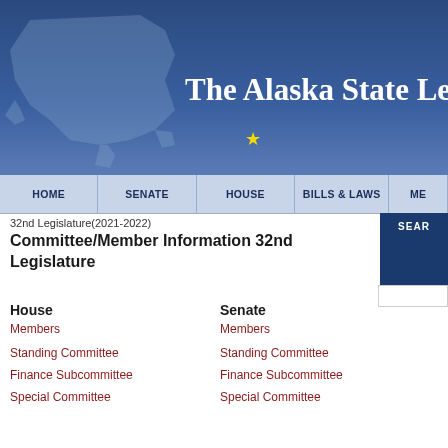[Figure (screenshot): Alaska State Legislature website header with Alaska map silhouette, blue gradient background, and title 'The Alaska State Legislature']
The Alaska State Legisla
HOME | SENATE | HOUSE | BILLS & LAWS | ME
32nd Legislature(2021-2022)
Committee/Member Information 32nd Legislature
House
Senate
Members
Members
Standing Committee
Standing Committee
Finance Subcommittee
Finance Subcommittee
Special Committee
Special Committee
Joint Committee
Joint Committee
Conference Committee
Conference Committee
Other Committee
Other Committee
Corresponding House Representation
Corresponding Senate Repres
House Members